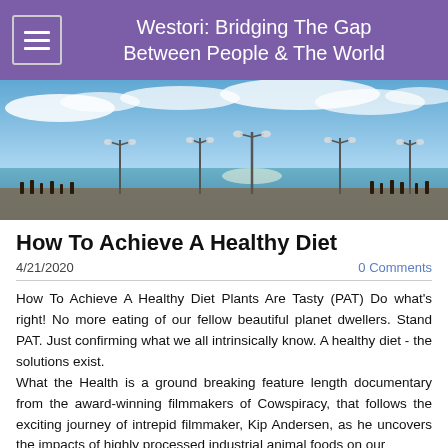Westori: Bridging The Gap Between People & The World
[Figure (photo): Panoramic photo of a pier/boardwalk with street lamps and people silhouetted against a bright blue sky with white clouds and the ocean in the background.]
How To Achieve A Healthy Diet
4/21/2020
0 Comments
How To Achieve A Healthy Diet Plants Are Tasty (PAT) Do what's right! No more eating of our fellow beautiful planet dwellers. Stand PAT. Just confirming what we all intrinsically know. A healthy diet - the solutions exist.
What the Health is a ground breaking feature length documentary from the award-winning filmmakers of Cowspiracy, that follows the exciting journey of intrepid filmmaker, Kip Andersen, as he uncovers the impacts of highly processed industrial animal foods on our